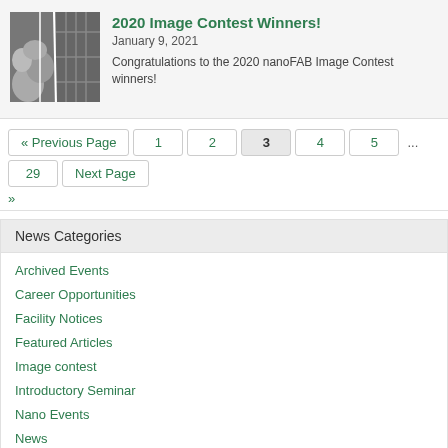[Figure (photo): Thumbnail image showing microscopy/nanoFAB images — grayscale collage of microscopic structures]
2020 Image Contest Winners!
January 9, 2021
Congratulations to the 2020 nanoFAB Image Contest winners!
« Previous Page
1
2
3
4
5
...
29
Next Page »
News Categories
Archived Events
Career Opportunities
Facility Notices
Featured Articles
Image contest
Introductory Seminar
Nano Events
News
Newsletter
Paper of the Month
Safety Orientation